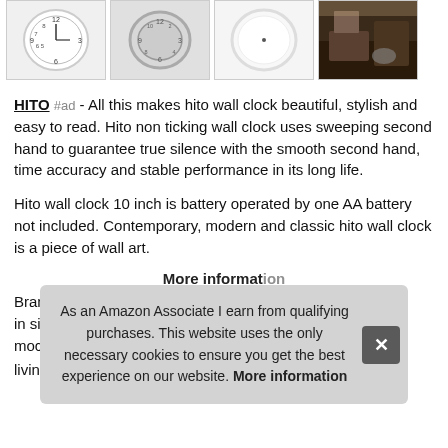[Figure (photo): Strip of four thumbnail images of a wall clock product and a room photo. First three show analog clock faces (white/silver, front and side views). Fourth shows a bathroom/room interior scene.]
HITO #ad - All this makes hito wall clock beautiful, stylish and easy to read. Hito non ticking wall clock uses sweeping second hand to guarantee true silence with the smooth second hand, time accuracy and stable performance in its long life.
Hito wall clock 10 inch is battery operated by one AA battery not included. Contemporary, modern and classic hito wall clock is a piece of wall art.
More information
Brand ...
living room, bedroom and office wall decor. And yes, glass
As an Amazon Associate I earn from qualifying purchases. This website uses the only necessary cookies to ensure you get the best experience on our website. More information